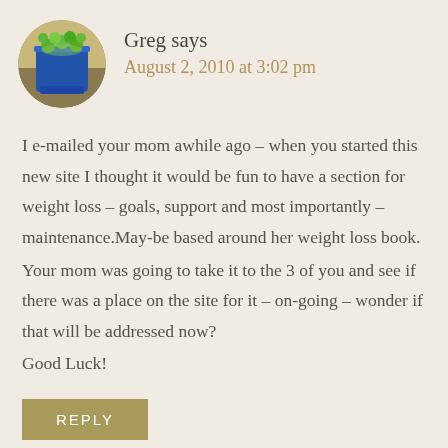[Figure (photo): Circular avatar image of a blue bucket filled with green apples/tomatoes outdoors]
Greg says
August 2, 2010 at 3:02 pm
I e-mailed your mom awhile ago – when you started this new site I thought it would be fun to have a section for weight loss – goals, support and most importantly – maintenance.May-be based around her weight loss book.
Your mom was going to take it to the 3 of you and see if there was a place on the site for it – on-going – wonder if that will be addressed now?
Good Luck!
REPLY